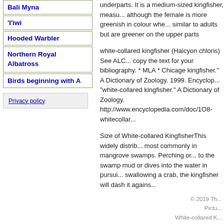Bali Myna
'I'iwi
Hooded Warbler
Northern Royal Albatross
Birds beginning with A
Privacy policy
underparts. It is a medium-sized kingfisher, measu... although the female is more greenish in colour whe... similar to adults but are greener on the upper parts
white-collared kingfisher (Halcyon chloris) See ALC... copy the text for your bibliography. * MLA * Chicage kingfisher." A Dictionary of Zoology. 1999. Encyclop... "white-collared kingfisher." A Dictionary of Zoology. http://www.encyclopedia.com/doc/1O8-whitecollar...
Size of White-collared KingfisherThis widely distrib... most commonly in mangrove swamps. Perching or... to the swamp mud or dives into the water in pursui... swallowing a crab, the kingfisher will dash it agains...
© 2019 Th... Pictu... White-collared K...